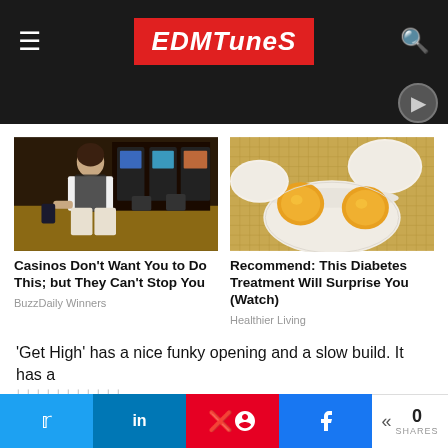EDMTunes
[Figure (photo): Woman in casino with slot machines in background]
Casinos Don't Want You to Do This; but They Can't Stop You
BuzzDaily Winners
[Figure (photo): Hard-boiled eggs sliced open showing yellow yolks]
Recommend: This Diabetes Treatment Will Surprise You (Watch)
Healthier Living
'Get High' has a nice funky opening and a slow build. It has a
0 SHARES